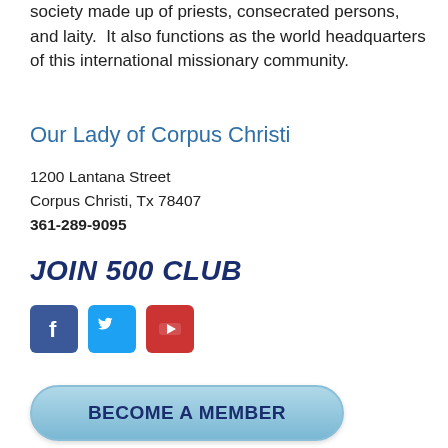society made up of priests, consecrated persons, and laity.  It also functions as the world headquarters of this international missionary community.
Our Lady of Corpus Christi
1200 Lantana Street
Corpus Christi, Tx 78407
361-289-9095
JOIN 500 CLUB
[Figure (infographic): Social media icons: Facebook (blue square with f), Twitter (light blue square with bird), YouTube (red square with play button)]
BECOME A MEMBER